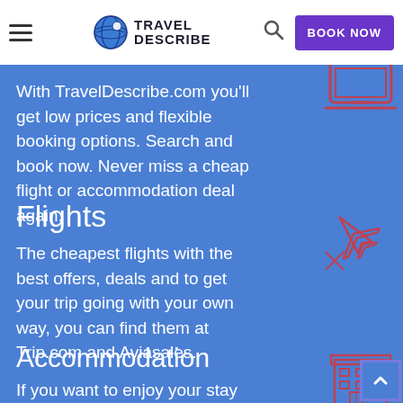Travel Describe — BOOK NOW
With TravelDescribe.com you'll get low prices and flexible booking options. Search and book now. Never miss a cheap flight or accommodation deal again.
Flights
The cheapest flights with the best offers, deals and to get your trip going with your own way, you can find them at Trip.com and Aviasales.
Accommodation
If you want to enjoy your stay and feel like home, you can find out exactly what you're looking for at Hostelworld, Booking.com, and